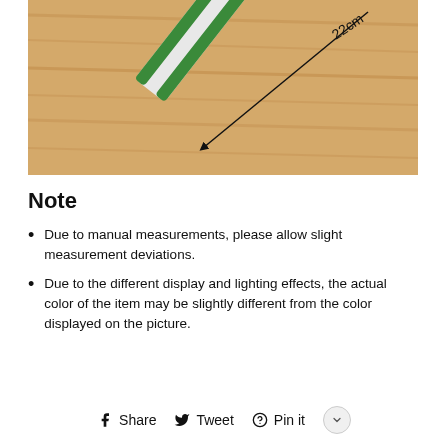[Figure (photo): Close-up photo of a green and white ceramic knife on a wooden surface with a measurement arrow indicating 22cm length]
Note
Due to manual measurements, please allow slight measurement deviations.
Due to the different display and lighting effects, the actual color of the item may be slightly different from the color displayed on the picture.
Share   Tweet   Pin it